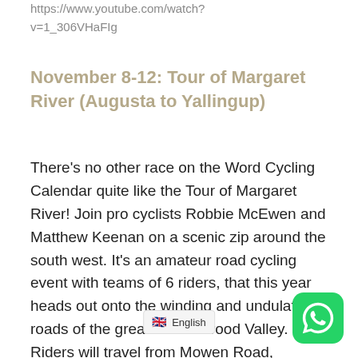https://www.youtube.com/watch?v=1_306VHaFIg
November 8-12: Tour of Margaret River (Augusta to Yallingup)
There's no other race on the Word Cycling Calendar quite like the Tour of Margaret River! Join pro cyclists Robbie McEwen and Matthew Keenan on a scenic zip around the south west. It's an amateur road cycling event with teams of 6 riders, that this year heads out onto the winding and undulating roads of the greater Blackwood Valley. Riders will travel from Mowen Road, Margaret River to Nannup, Greenbushes and Balingup.